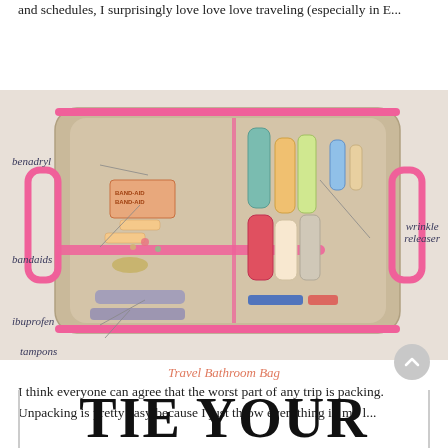and schedules, I surprisingly love love love traveling (especially in E...
[Figure (photo): Open clear travel bathroom bag with pink trim handles, containing bandaids, ibuprofen, tampons, benadryl on the left side and wrinkle releaser and other toiletries/lotions on the right side. Labels point to: benadryl, bandaids, wrinkle releaser, ibuprofen, tampons.]
Travel Bathroom Bag
I think everyone can agree that the worst part of any trip is packing. Unpacking is pretty easy because I just throw everything in my l...
TIE YOUR